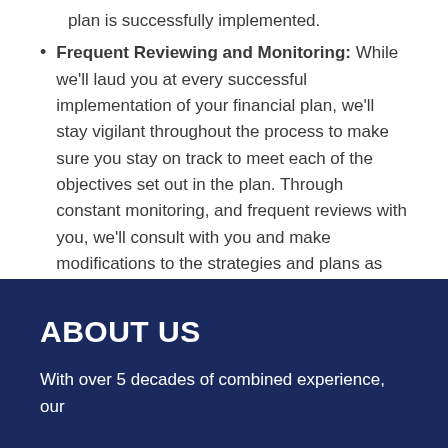plan is successfully implemented.
Frequent Reviewing and Monitoring: While we'll laud you at every successful implementation of your financial plan, we'll stay vigilant throughout the process to make sure you stay on track to meet each of the objectives set out in the plan. Through constant monitoring, and frequent reviews with you, we'll consult with you and make modifications to the strategies and plans as and when needed.
ABOUT US
With over 5 decades of combined experience, our